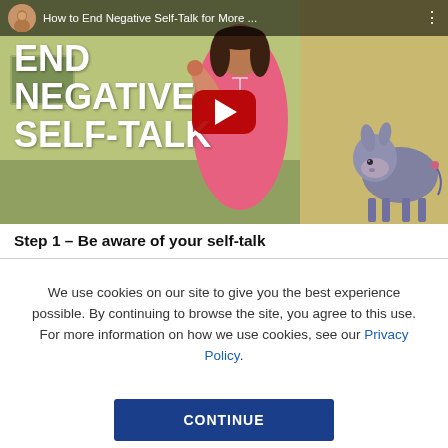[Figure (screenshot): YouTube video thumbnail showing a woman in a pink top pointing at her head, with bold white text 'END NEGATIVE SELF-TALK' on the left, a red YouTube play button in the center, and an Eeyore cartoon character on the right. The video top bar shows a circular avatar, title 'How to End Negative Self-Talk for More ...' and a three-dot menu.]
Step 1 – Be aware of your self-talk
We use cookies on our site to give you the best experience possible. By continuing to browse the site, you agree to this use. For more information on how we use cookies, see our Privacy Policy.
CONTINUE